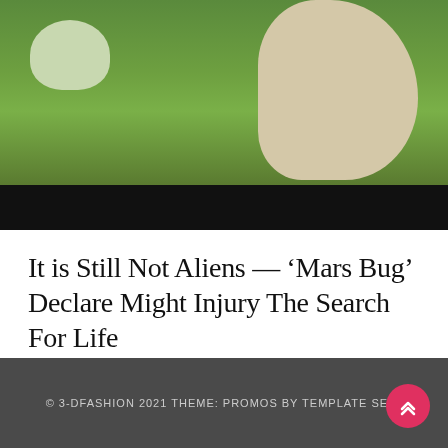[Figure (photo): Photo of sheep in a green field — a white/light-colored lamb on the left and a large woolly sheep with horns on the right, against a green grass background. A black bar overlays the bottom of the image.]
It is Still Not Aliens — ‘Mars Bug’ Declare Might Injury The Search For Life
JUNE 27, 2022
© 3-DFASHION 2021 THEME: PROMOS BY TEMPLATE SELL